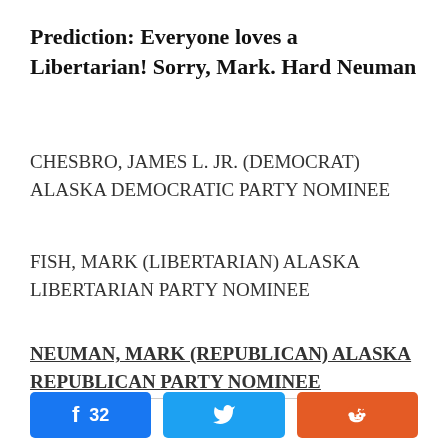Prediction: Everyone loves a Libertarian! Sorry, Mark. Hard Neuman
CHESBRO, JAMES L. JR. (DEMOCRAT) ALASKA DEMOCRATIC PARTY NOMINEE
FISH, MARK (LIBERTARIAN) ALASKA LIBERTARIAN PARTY NOMINEE
NEUMAN, MARK (REPUBLICAN) ALASKA REPUBLICAN PARTY NOMINEE